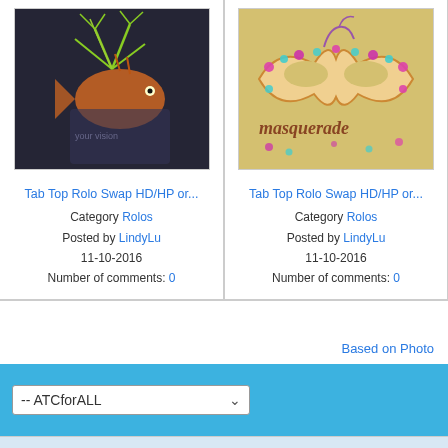[Figure (photo): Artwork image: decorative fish/creature artwork on dark background for Tab Top Rolo Swap]
[Figure (photo): Artwork image: masquerade mask with jewels on tan/gold background, text 'masquerade']
Tab Top Rolo Swap HD/HP or...
Category Rolos
Posted by LindyLu
11-10-2016
Number of comments: 0
Tab Top Rolo Swap HD/HP or...
Category Rolos
Posted by LindyLu
11-10-2016
Number of comments: 0
Based on Photo...
-- ATCforALL
All times are GMT -4. Th...
Powered by vBull...
Copyright © 2022 vBulletin So...